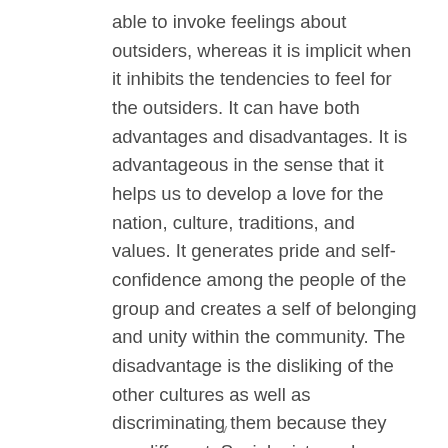able to invoke feelings about outsiders, whereas it is implicit when it inhibits the tendencies to feel for the outsiders. It can have both advantages and disadvantages. It is advantageous in the sense that it helps us to develop a love for the nation, culture, traditions, and values. It generates pride and self-confidence among the people of the group and creates a self of belonging and unity within the community. The disadvantage is the disliking of the other cultures as well as discriminating them because they are different. Sociologists and anthropologists are of the view that almost all the people are ethnocentric in at least some part of their lives, most of the time without even realizing it.
v